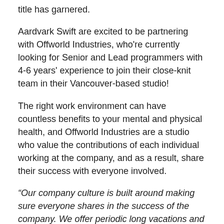title has garnered.
Aardvark Swift are excited to be partnering with Offworld Industries, who're currently looking for Senior and Lead programmers with 4-6 years' experience to join their close-knit team in their Vancouver-based studio!
The right work environment can have countless benefits to your mental and physical health, and Offworld Industries are a studio who value the contributions of each individual working at the company, and as a result, share their success with everyone involved.
“Our company culture is built around making sure everyone shares in the success of the company. We offer periodic long vacations and project based bonuses as well as a completely open work schedule based on hitting our goals.” – Offworld Industries website.
This could be your chance to make a real, meaningful impact on a game's development and influence the